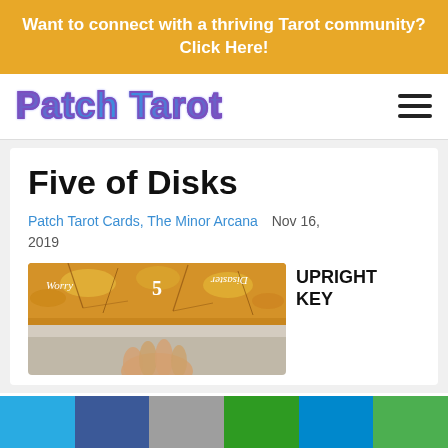Want to connect with a thriving Tarot community? Click Here!
Patch Tarot
Five of Disks
Patch Tarot Cards, The Minor Arcana   Nov 16, 2019
[Figure (illustration): Tarot card image for Five of Disks showing cracked earth background with the number 5, text 'Worry' on the left and 'Disaster' reversed on the right, and a hand visible at the bottom.]
UPRIGHT KEY